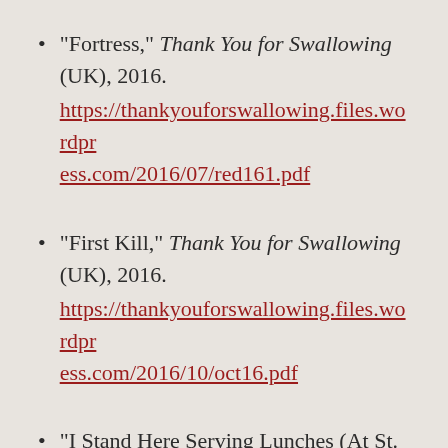“Fortress,” Thank You for Swallowing (UK), 2016. https://thankyouforswallowing.files.wordpress.com/2016/07/red161.pdf
“First Kill,” Thank You for Swallowing (UK), 2016. https://thankyouforswallowing.files.wordpress.com/2016/10/oct16.pdf
“I Stand Here Serving Lunches (At St.